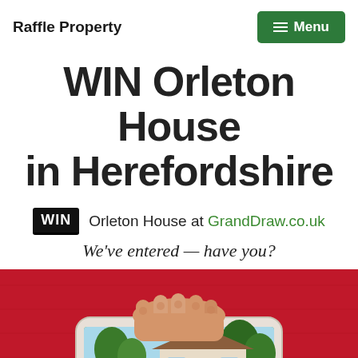Raffle Property
WIN Orleton House in Herefordshire
WIN Orleton House at GrandDraw.co.uk
We've entered — have you?
[Figure (photo): Hand holding a smartphone displaying an image of a house, against a red fabric background]